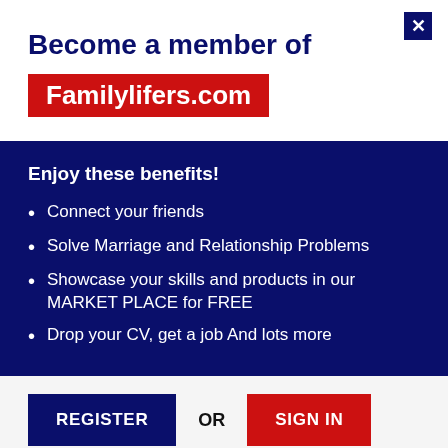Become a member of Familylifers.com
Enjoy these benefits!
Connect your friends
Solve Marriage and Relationship Problems
Showcase your skills and products in our MARKET PLACE for FREE
Drop your CV, get a job And lots more
REGISTER OR SIGN IN
View full benefits here